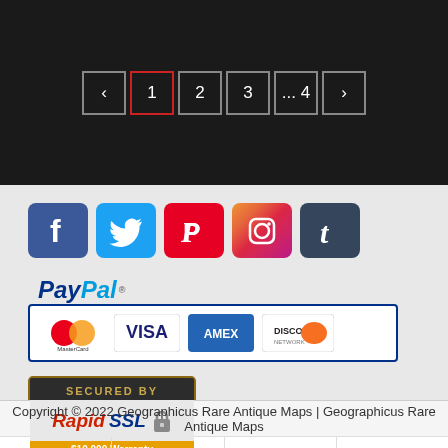[Figure (screenshot): Pagination control showing pages: left arrow, 1 (active/highlighted in red), 2, 3, ...4, right arrow on dark background]
[Figure (screenshot): Social media icons row: Facebook (blue), Twitter (light blue), Pinterest (red), Instagram (pink/purple), Tumblr (dark blue)]
[Figure (logo): PayPal logo with credit card payment options: MasterCard, Visa, Amex, Discover in a bordered box]
[Figure (logo): RapidSSL Secured badge with $10,000 Warranty]
Copyright © 2022 Geographicus Rare Antique Maps | Geographicus Rare Antique Maps
[Figure (screenshot): Bottom navigation bar with HOME, SHOP, CART, LINKS icons and labels]